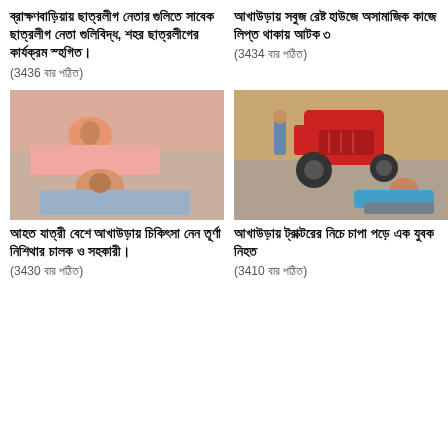ব্রাক্ষণবাড়িয়ায় ছাত্রলীগ নেতার গুলিতে সাবেক ছাত্রলীগ নেতা গুলিবিদ্ধ, শহর ছাত্রলীগের কার্যক্রম স্হগিত।
(3436 বার পঠিত)
আখাউড়ায় সবুজ রেষ্ট হাউজে অসামাজিক কাজে লিপ্ত থাকায় আটক ৩
(3434 বার পঠিত)
[Figure (photo): Two injured men lying in a hospital bed]
[Figure (photo): Young man lying on road near a red tractor]
আহত যাত্রী বেশে আখাউড়ায় চিকিৎসা নেন তূর্ণা নিশিথার চালক ও সহকারী।
(3430 বার পঠিত)
আখাউড়ায় ট্রাক্টরের নিচে চাপা পড়ে এক যুবক নিহত
(3410 বার পঠিত)